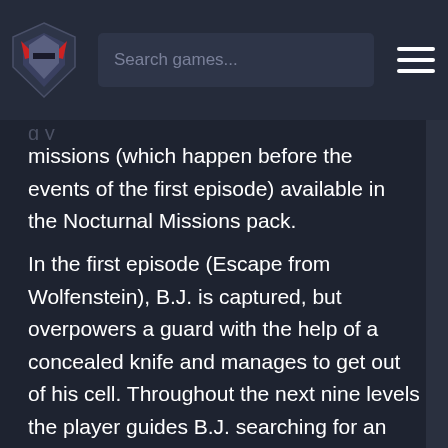Search games...
missions (which happen before the events of the first episode) available in the Nocturnal Missions pack.
In the first episode (Escape from Wolfenstein), B.J. is captured, but overpowers a guard with the help of a concealed knife and manages to get out of his cell. Throughout the next nine levels the player guides B.J. searching for an escape from Wolfenstein, guarded by Hans Grosse. After returning to Allied territory, B.J. is given the instructions to Operation: Eisenfaust, where he has to stop Dr. Schabbs and his army of mutant prototypes before they are released into the battlefields. The final mission (Die, Führer, Die!) has a simple goal: infiltrate the bunker under the Reichstag, and terminate Hitler (in a robotic suit) himself.